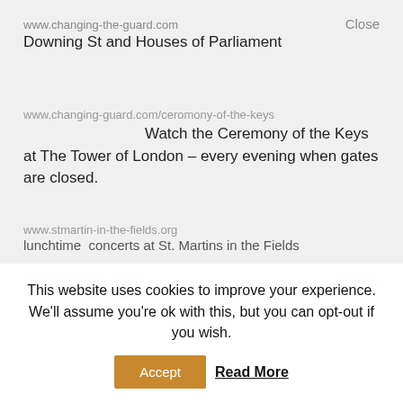www.changing-the-guard.com    Close
Downing St and Houses of Parliament
www.changing-guard.com/ceromony-of-the-keys
Watch the Ceremony of the Keys at The Tower of London – every evening when gates are closed.
www.stmartin-in-the-fields.org
lunchtime  concerts at St. Martins in the Fields
www.royalparks.org.uk    Listen to
free speech at Speakers' Corner,  on the N.E. corner of
This website uses cookies to improve your experience. We'll assume you're ok with this, but you can opt-out if you wish.
Accept   Read More